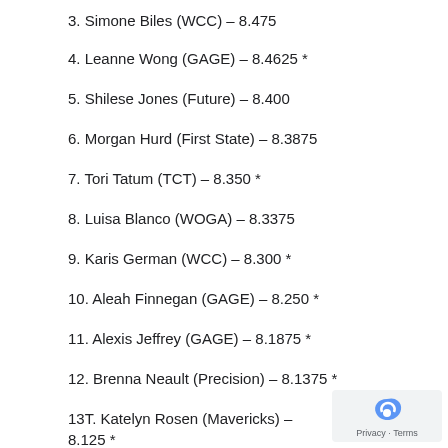3. Simone Biles (WCC) – 8.475
4. Leanne Wong (GAGE) – 8.4625 *
5. Shilese Jones (Future) – 8.400
6. Morgan Hurd (First State) – 8.3875
7. Tori Tatum (TCT) – 8.350 *
8. Luisa Blanco (WOGA) – 8.3375
9. Karis German (WCC) – 8.300 *
10. Aleah Finnegan (GAGE) – 8.250 *
11. Alexis Jeffrey (GAGE) – 8.1875 *
12. Brenna Neault (Precision) – 8.1375 *
13T. Katelyn Rosen (Mavericks) – 8.125 *